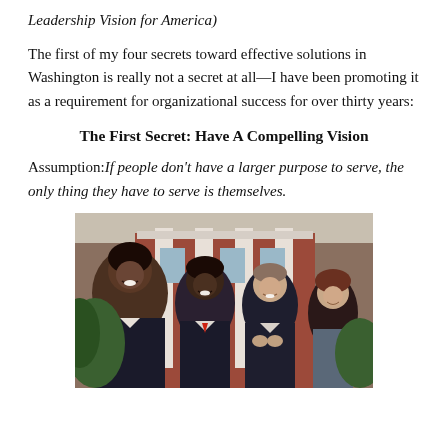Leadership Vision for America)
The first of my four secrets toward effective solutions in Washington is really not a secret at all—I have been promoting it as a requirement for organizational success for over thirty years:
The First Secret: Have A Compelling Vision
Assumption: If people don't have a larger purpose to serve, the only thing they have to serve is themselves.
[Figure (photo): Group of diverse professionals in business attire smiling and applauding in front of a brick building with white columns.]